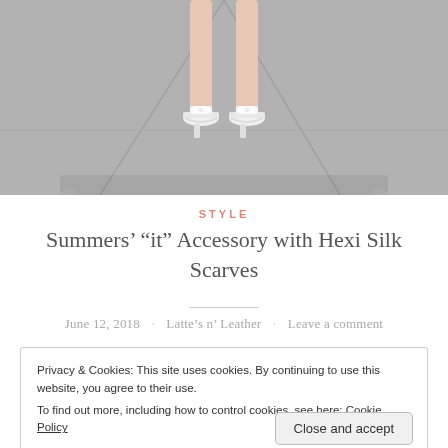[Figure (photo): Bottom portion of a person's legs wearing white sandal heels, standing on grey concrete pavement]
STYLE
Summers' “it” Accessory with Hexi Silk Scarves
June 12, 2018 · Latte’s n’ Leather · Leave a comment
Privacy & Cookies: This site uses cookies. By continuing to use this website, you agree to their use.
To find out more, including how to control cookies, see here: Cookie Policy